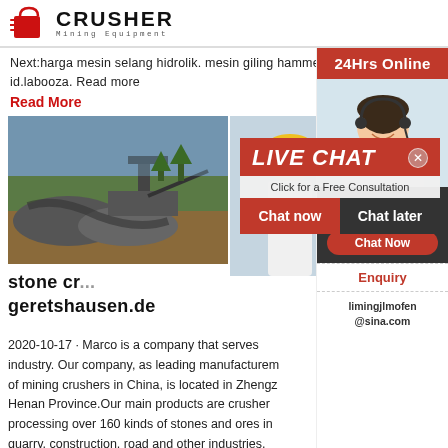[Figure (logo): Crusher Mining Equipment logo with red shopping bag icon and bold text]
Next:harga mesin selang hidrolik. mesin giling hammer mill - id.labooza. Read more
Read More
[Figure (photo): Mining quarry site with heavy machinery and equipment]
[Figure (photo): Live Chat overlay showing workers in hard hats with LIVE CHAT banner and Chat now / Chat later buttons]
stone crusher geretshausen.de
2020-10-17 · Marco is a company that serves industry. Our company, as leading manufacturers of mining crushers in China, is located in Zhengzhou, Henan Province.Our main products are crusher processing over 160 kinds of stones and ores in quarry, construction, road and other industries. Our products include jaw crusher, impact crusher, cone
[Figure (infographic): Right sidebar with 24Hrs Online banner, customer service representative photo, Need questions & suggestion Chat Now button, Enquiry link, and limingjlmofen@sina.com email]